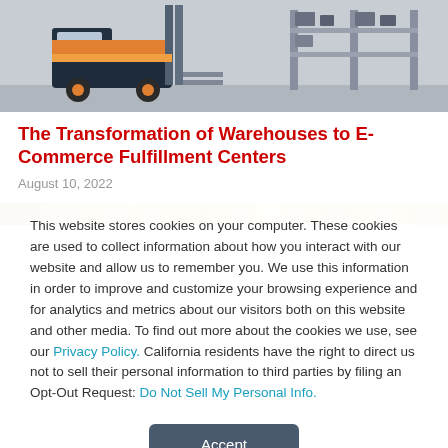[Figure (illustration): Illustration of a forklift and warehouse shelving with equipment, colorful flat-design style with orange and dark blue forklift, grey background with shelves and office equipment.]
The Transformation of Warehouses to E-Commerce Fulfillment Centers
August 10, 2022
[Figure (photo): Partial image strip visible below the article header, gold/yellow colored horizontal band.]
This website stores cookies on your computer. These cookies are used to collect information about how you interact with our website and allow us to remember you. We use this information in order to improve and customize your browsing experience and for analytics and metrics about our visitors both on this website and other media. To find out more about the cookies we use, see our Privacy Policy. California residents have the right to direct us not to sell their personal information to third parties by filing an Opt-Out Request: Do Not Sell My Personal Info.